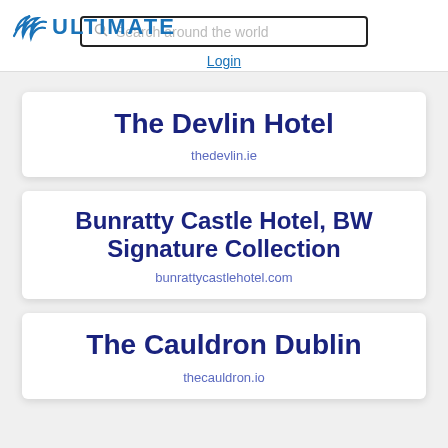ULTIMATE — Search around the world — Login
The Devlin Hotel
thedevlin.ie
Bunratty Castle Hotel, BW Signature Collection
bunrattycastlehotel.com
The Cauldron Dublin
thecauldron.io